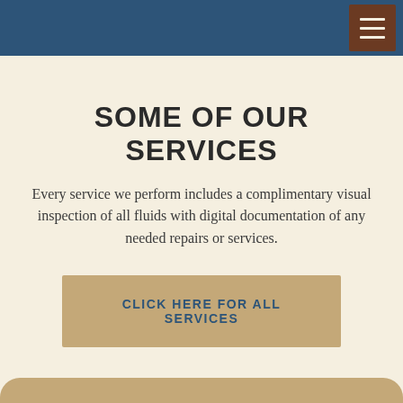SOME OF OUR SERVICES
Every service we perform includes a complimentary visual inspection of all fluids with digital documentation of any needed repairs or services.
CLICK HERE FOR ALL SERVICES
FACTORY SCHEDULED MAINTENANCE